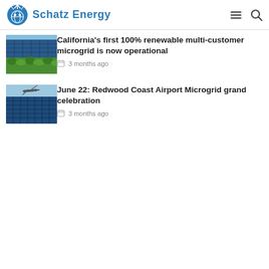Schatz Energy
[Figure (photo): Solar panels in a field with green vegetation below, blue sky]
California's first 100% renewable multi-customer microgrid is now operational
3 months ago
[Figure (photo): Solar panels with an airplane flying overhead against a blue sky]
June 22: Redwood Coast Airport Microgrid grand celebration
3 months ago